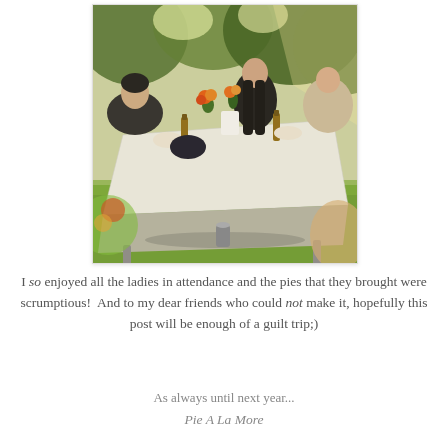[Figure (photo): Outdoor garden party scene with people sitting around a table covered with a white linen tablecloth. The table has bottles of beer, flowers in vases, and food. People are seated on both sides. There is green grass and trees in the background with warm autumn sunlight.]
I so enjoyed all the ladies in attendance and the pies that they brought were scrumptious!  And to my dear friends who could not make it, hopefully this post will be enough of a guilt trip;)
As always until next year...
Pie A La More